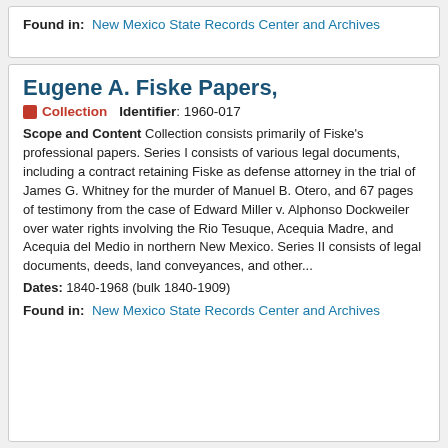Found in: New Mexico State Records Center and Archives
Eugene A. Fiske Papers,
Collection   Identifier: 1960-017
Scope and Content Collection consists primarily of Fiske's professional papers. Series I consists of various legal documents, including a contract retaining Fiske as defense attorney in the trial of James G. Whitney for the murder of Manuel B. Otero, and 67 pages of testimony from the case of Edward Miller v. Alphonso Dockweiler over water rights involving the Rio Tesuque, Acequia Madre, and Acequia del Medio in northern New Mexico. Series II consists of legal documents, deeds, land conveyances, and other...
Dates: 1840-1968 (bulk 1840-1909)
Found in: New Mexico State Records Center and Archives